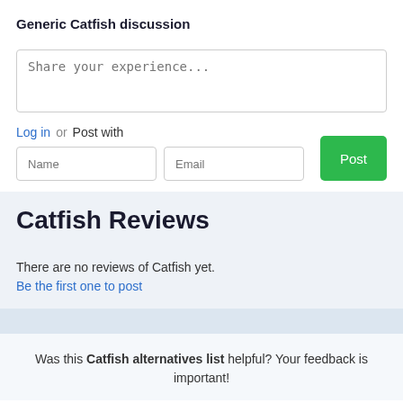Generic Catfish discussion
Share your experience...
Log in or Post with
Name
Email
Post
Catfish Reviews
There are no reviews of Catfish yet. Be the first one to post
Was this Catfish alternatives list helpful? Your feedback is important!